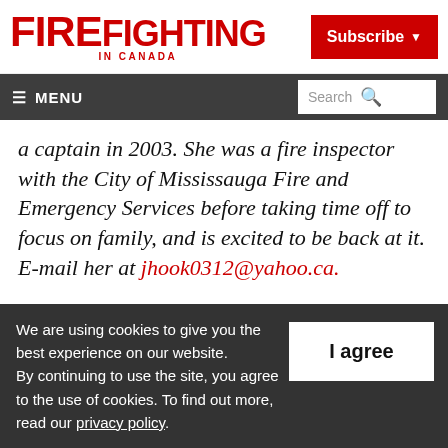FIREFighting IN CANADA
Subscribe
≡ MENU   Search
a captain in 2003. She was a fire inspector with the City of Mississauga Fire and Emergency Services before taking time off to focus on family, and is excited to be back at it. E-mail her at jhook0312@yahoo.ca.
We are using cookies to give you the best experience on our website. By continuing to use the site, you agree to the use of cookies. To find out more, read our privacy policy.